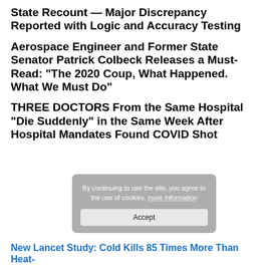State Recount — Major Discrepancy Reported with Logic and Accuracy Testing
Aerospace Engineer and Former State Senator Patrick Colbeck Releases a Must-Read: “The 2020 Coup, What Happened. What We Must Do”
THREE DOCTORS From the Same Hospital “Die Suddenly” in the Same Week After Hospital Mandates Found COVID Shot
New Lancet Study: Cold Kills 85 Times More Than Heat-